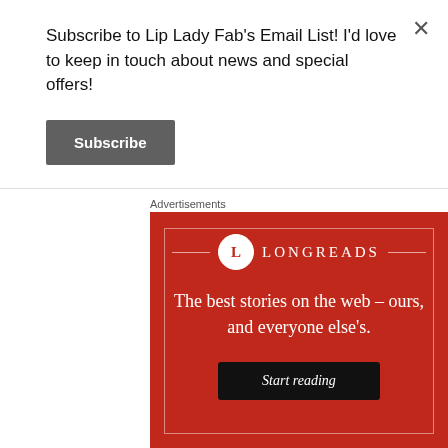Subscribe to Lip Lady Fab's Email List! I'd love to keep in touch about news and special offers!
Subscribe
Advertisements
[Figure (illustration): Longreads advertisement banner with red background. Shows the Longreads logo (circle with L), tagline 'The best stories on the web – ours, and everyone else's.' and a 'Start reading' button.]